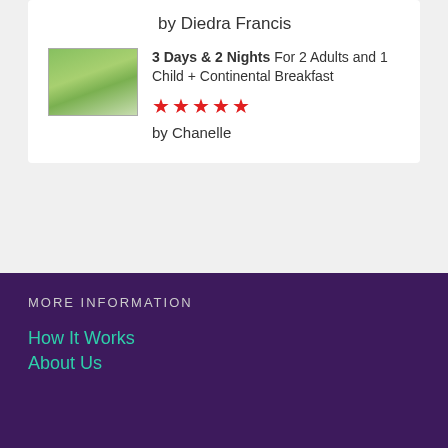by Diedra Francis
3 Days & 2 Nights For 2 Adults and 1 Child + Continental Breakfast
★★★★★
by Chanelle
MORE INFORMATION
How It Works
About Us